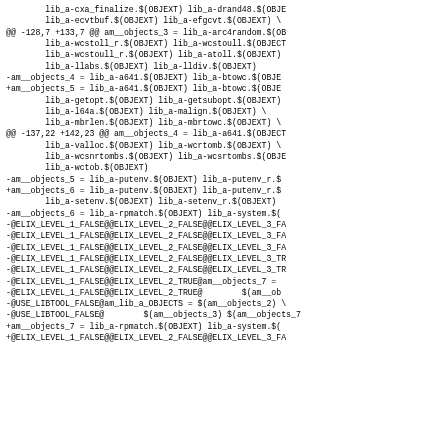Diff/patch code block showing changes to Makefile am_objects variables